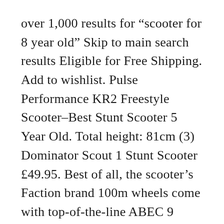over 1,000 results for "scooter for 8 year old" Skip to main search results Eligible for Free Shipping. Add to wishlist. Pulse Performance KR2 Freestyle Scooter–Best Stunt Scooter 5 Year Old. Total height: 81cm (3) Dominator Scout 1 Stunt Scooter £49.95. Best of all, the scooter's Faction brand 100m wheels come with top-of-the-line ABEC 9 carbon bearings. This is high performing pro scooter, which comes with a unique snakeskin graphics. Stream Folding Inline Kids Scooter 2 Wheels Kick Scooter with Adjustable Handlebar Rear Brake for Boys Girls Age 3-8 Year Old (black) 4.6 out of 5 stars 120 £26.99 £ 26 . Rating 4.200039 out of 5 (39) £36.99. The Mongoose Stance